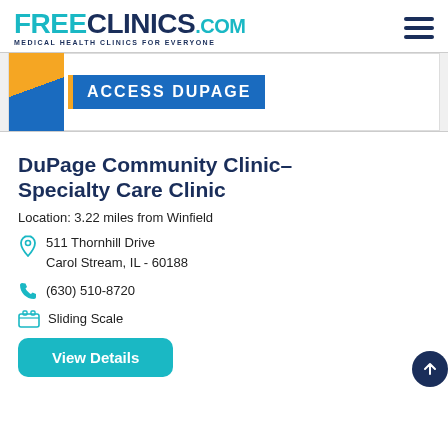FREECLINICS.COM - Medical Health Clinics For Everyone
[Figure (photo): Partial view of Access DuPage clinic sign/logo with blue and gold colors]
DuPage Community Clinic- Specialty Care Clinic
Location: 3.22 miles from Winfield
511 Thornhill Drive Carol Stream, IL - 60188
(630) 510-8720
Sliding Scale
View Details